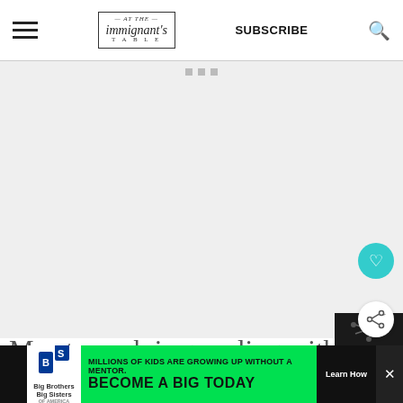At The Immigrant's Table — SUBSCRIBE
[Figure (photo): Large empty/light gray image area below the header, likely a food blog hero image placeholder]
My stomach is growling with hunger and my feet throb, swollen from hours spent chopping, stirring and
[Figure (infographic): WHAT'S NEXT panel with small circular food photo and text: Russian Korean-style...]
[Figure (infographic): Advertisement bar: Big Brothers Big Sisters - MILLIONS OF KIDS ARE GROWING UP WITHOUT A MENTOR. BECOME A BIG TODAY. Learn How]